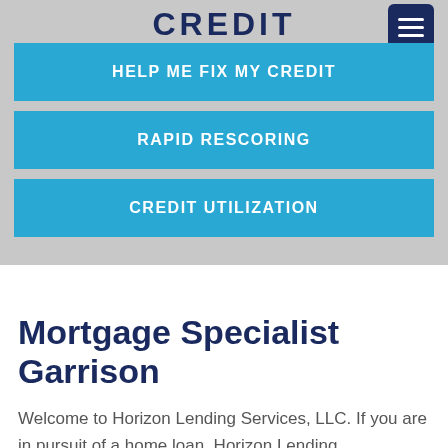CREDIT
HELP ME FIX MY CREDIT
RAPID RESCORING
CREDIT UTILIZATION
Mortgage Specialist Garrison
Welcome to Horizon Lending Services, LLC. If you are in pursuit of a home loan, Horizon Lending